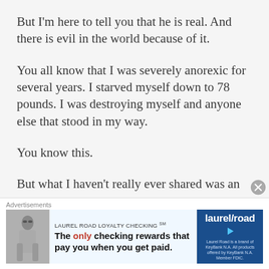But I'm here to tell you that he is real. And there is evil in the world because of it.
You all know that I was severely anorexic for several years. I starved myself down to 78 pounds. I was destroying myself and anyone else that stood in my way.
You know this.
But what I haven't really ever shared was an
[Figure (screenshot): Advertisement banner for Laurel Road Loyalty Checking with image of woman, text 'The only checking rewards that pay you when you get paid.' and Laurel Road logo on blue background]